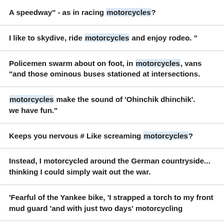A speedway" - as in racing motorcycles?
I like to skydive, ride motorcycles and enjoy rodeo. "
Policemen swarm about on foot, in motorcycles, vans "and those ominous buses stationed at intersections.
motorcycles make the sound of 'Ohinchik dhinchik'. we have fun."
Keeps you nervous # Like screaming motorcycles?
Instead, I motorcycled around the German countryside... thinking I could simply wait out the war.
'Fearful of the Yankee bike, 'I strapped a torch to my front mud guard 'and with just two days' motorcycling